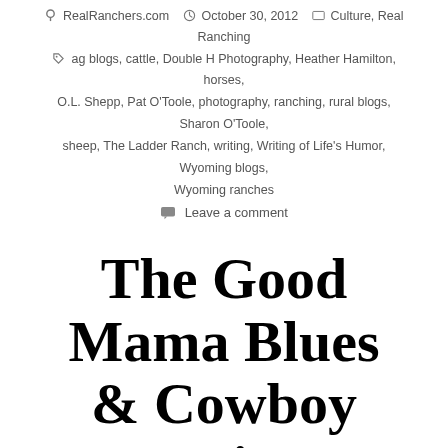RealRanchers.com  October 30, 2012  Culture, Real Ranching
ag blogs, cattle, Double H Photography, Heather Hamilton, horses, O.L. Shepp, Pat O'Toole, photography, ranching, rural blogs, Sharon O'Toole, sheep, The Ladder Ranch, writing, Writing of Life's Humor, Wyoming blogs, Wyoming ranches
Leave a comment
The Good Mama Blues & Cowboy Entertainment
This week we're directing you over to RealRancher Ondi Shepperson's blog to read her two latest posts. Ondi has a